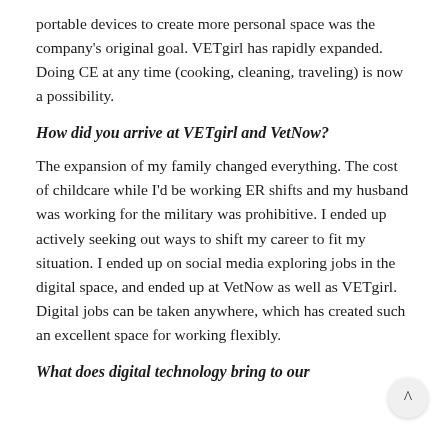portable devices to create more personal space was the company's original goal. VETgirl has rapidly expanded. Doing CE at any time (cooking, cleaning, traveling) is now a possibility.
How did you arrive at VETgirl and VetNow?
The expansion of my family changed everything. The cost of childcare while I'd be working ER shifts and my husband was working for the military was prohibitive. I ended up actively seeking out ways to shift my career to fit my situation. I ended up on social media exploring jobs in the digital space, and ended up at VetNow as well as VETgirl. Digital jobs can be taken anywhere, which has created such an excellent space for working flexibly.
What does digital technology bring to our